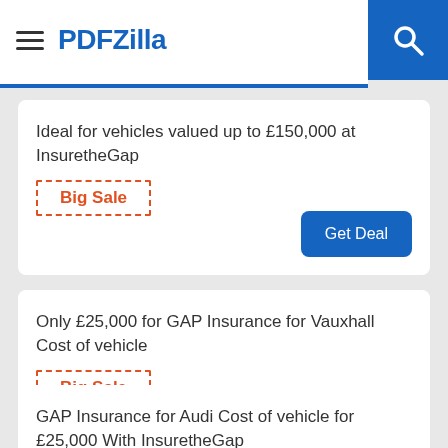PDFZilla
Ideal for vehicles valued up to £150,000 at InsuretheGap
Big Sale
Get Deal
Only £25,000 for GAP Insurance for Vauxhall Cost of vehicle
Big Sale
Get Deal
GAP Insurance for Audi Cost of vehicle for £25,000 With InsuretheGap